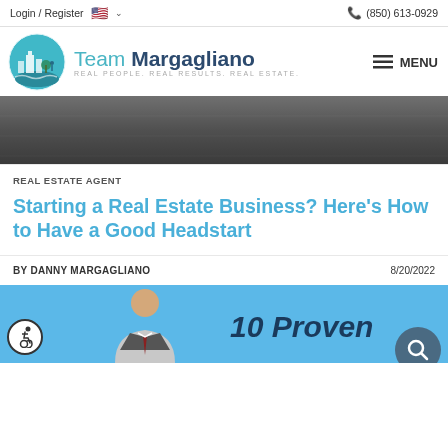Login / Register  🇺🇸 ∨  (850) 613-0929
[Figure (logo): Team Margagliano real estate logo with circular teal cityscape illustration and text 'Team Margagliano - REAL PEOPLE. REAL RESULTS. REAL ESTATE.' plus MENU hamburger button]
[Figure (photo): Dark gray banner/hero image band, appears to be a real estate related background photo in grayscale]
REAL ESTATE AGENT
Starting a Real Estate Business? Here's How to Have a Good Headstart
BY DANNY MARGAGLIANO  8/20/2022
[Figure (photo): Blue banner showing a man in a suit and text '10 Proven' in bold dark navy italic font, with accessibility icon and search button overlaid]